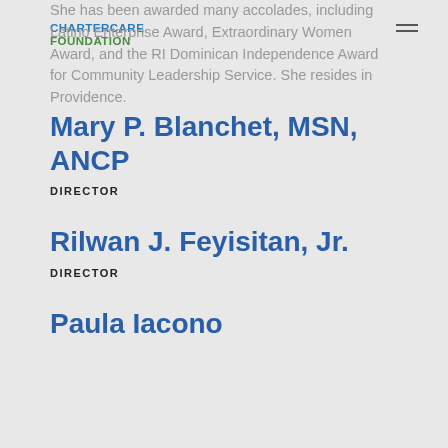CHARTERCARE FOUNDATION
She has been awarded many accolades, including Latino Enterprise Award, Extraordinary Women Award, and the RI Dominican Independence Award for Community Leadership Service. She resides in Providence.
Mary P. Blanchet, MSN, ANCP
DIRECTOR
Rilwan J. Feyisitan, Jr.
DIRECTOR
Paula Iacono